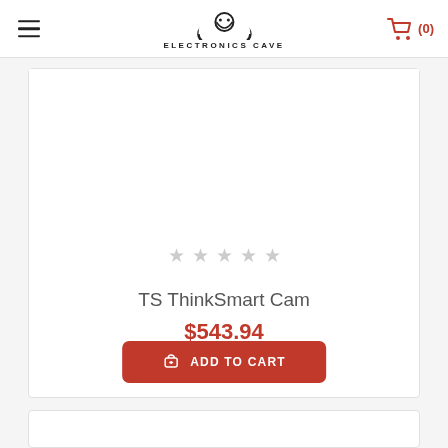ELECTRONICS CAVE
[Figure (screenshot): Product card for TS ThinkSmart Cam with 5 empty star ratings, price $543.94, and an Add to Cart button]
★★★★★
TS ThinkSmart Cam
$543.94
ADD TO CART